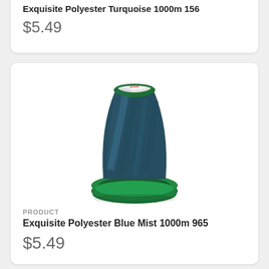Exquisite Polyester Turquoise 1000m 156
$5.49
[Figure (photo): A spool of dark blue-grey polyester embroidery thread on a green spool/cone, standing upright. The thread is wound in diagonal patterns. Brand label visible on top.]
PRODUCT
Exquisite Polyester Blue Mist 1000m 965
$5.49